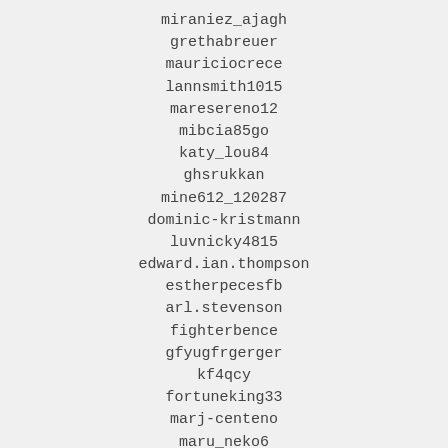miraniez_ajagh
grethabreuer
mauriciocrece
lannsmith1015
maresereno12
mibcia85go
katy_lou84
ghsrukkan
mine612_120287
dominic-kristmann
luvnicky4815
edward.ian.thompson
estherpecesfb
arl.stevenson
fighterbence
gfyugfrgerger
kf4qcy
fortuneking33
marj-centeno
maru_neko6
anitabhatnagar.jan01
bobiwong
ganesh.26.1994.babu.gb
linda_gerrard